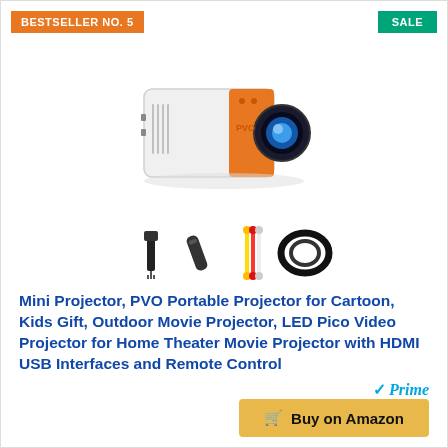BESTSELLER NO. 5
SALE
[Figure (photo): Mini projector (white and orange color) with accessories including power adapter, remote control, AV cables, and HDMI cable shown below]
Mini Projector, PVO Portable Projector for Cartoon, Kids Gift, Outdoor Movie Projector, LED Pico Video Projector for Home Theater Movie Projector with HDMI USB Interfaces and Remote Control
Prime
Buy on Amazon